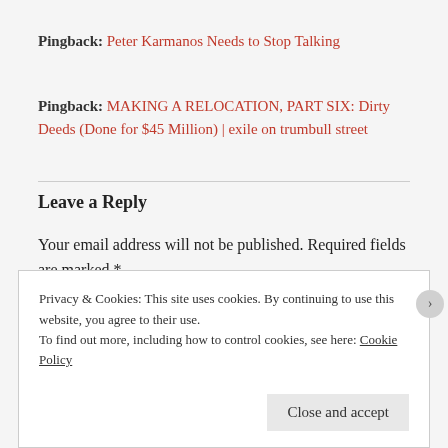Pingback: Peter Karmanos Needs to Stop Talking
Pingback: MAKING A RELOCATION, PART SIX: Dirty Deeds (Done for $45 Million) | exile on trumbull street
Leave a Reply
Your email address will not be published. Required fields are marked *
Privacy & Cookies: This site uses cookies. By continuing to use this website, you agree to their use.
To find out more, including how to control cookies, see here: Cookie Policy